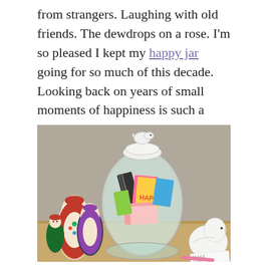from strangers. Laughing with old friends. The dewdrops on a rose. I'm so pleased I kept my happy jar going for so much of this decade. Looking back on years of small moments of happiness is such a good reminder that yes there are dark times and sometimes we can't escape those, but there is goodness and kindness and joy to be found as well.
[Figure (photo): A glass jar with a white ceramic bird on its lid, filled with colorful folded notes and cards including one labeled 'HAPPY JAR'. Surrounded by Russian nesting dolls on the left, a white ceramic duck on the right, and a wooden surface. A card reading 'MAKE TIME W...' is visible at the bottom right.]